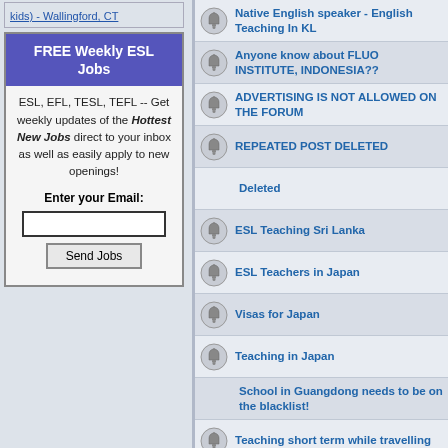kids) - Wallingford, CT
FREE Weekly ESL Jobs
ESL, EFL, TESL, TEFL -- Get weekly updates of the Hottest New Jobs direct to your inbox as well as easily apply to new openings!
Enter your Email:
Native English speaker - English Teaching In KL
Anyone know about FLUO INSTITUTE, INDONESIA??
ADVERTISING IS NOT ALLOWED ON THE FORUM
REPEATED POST DELETED
Deleted
ESL Teaching Sri Lanka
ESL Teachers in Japan
Visas for Japan
Teaching in Japan
School in Guangdong needs to be on the blacklist!
Teaching short term while travelling
Asian TESOL teachers